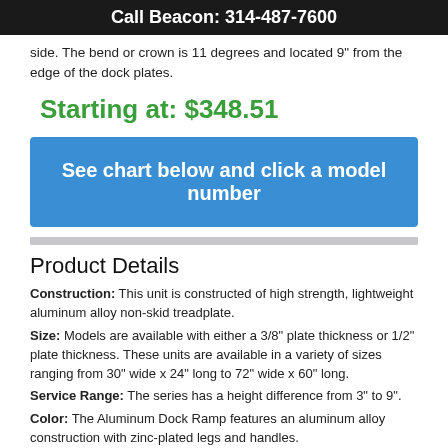Call Beacon: 314-487-7600
side. The bend or crown is 11 degrees and located 9" from the edge of the dock plates.
Starting at: $348.51
See chart below and click a model number
Product Details
Construction: This unit is constructed of high strength, lightweight aluminum alloy non-skid treadplate.
Size: Models are available with either a 3/8" plate thickness or 1/2" plate thickness. These units are available in a variety of sizes ranging from 30" wide x 24" long to 72" wide x 60" long.
Service Range: The series has a height difference from 3" to 9".
Color: The Aluminum Dock Ramp features an aluminum alloy construction with zinc-plated legs and handles.